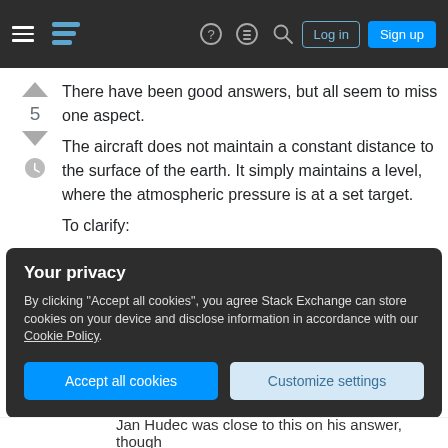Stack Exchange navigation bar with hamburger menu, logo, icons, Log in and Sign up buttons
There have been good answers, but all seem to miss one aspect.
The aircraft does not maintain a constant distance to the surface of the earth. It simply maintains a level, where the atmospheric pressure is at a set target.
To clarify:
Autopilot (or the pilot) wants to maintain a contstant reading on the altimeter. This reading is merely a calibrated difference to a reference level, which
Your privacy
By clicking "Accept all cookies", you agree Stack Exchange can store cookies on your device and disclose information in accordance with our Cookie Policy.
Jan Hudec was close to this on his answer, though